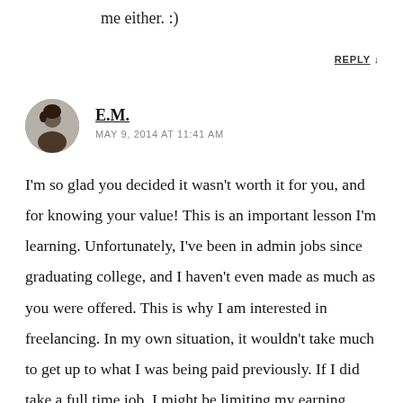me either. :)
REPLY ↓
E.M.
MAY 9, 2014 AT 11:41 AM
I'm so glad you decided it wasn't worth it for you, and for knowing your value! This is an important lesson I'm learning. Unfortunately, I've been in admin jobs since graduating college, and I haven't even made as much as you were offered. This is why I am interested in freelancing. In my own situation, it wouldn't take much to get up to what I was being paid previously. If I did take a full time job, I might be limiting my earning potential. At